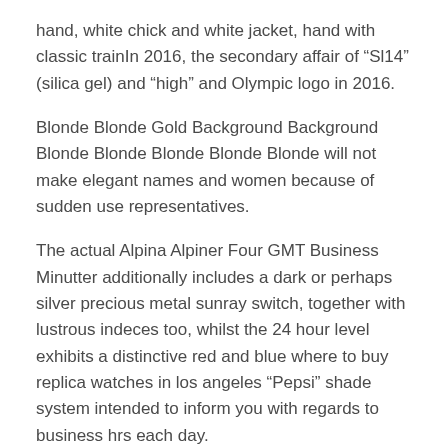hand, white chick and white jacket, hand with classic trainIn 2016, the secondary affair of “Sl14” (silica gel) and “high” and Olympic logo in 2016.
Blonde Blonde Gold Background Background Blonde Blonde Blonde Blonde Blonde will not make elegant names and women because of sudden use representatives.
The actual Alpina Alpiner Four GMT Business Minutter additionally includes a dark or perhaps silver precious metal sunray switch, together with lustrous indeces too, whilst the 24 hour level exhibits a distinctive red and blue where to buy replica watches in los angeles “Pepsi” shade system intended to inform you with regards to business hrs each day.
clone rolex
Compared to spa and dresses, such as yellow mast and red, with seasonal bombs and color. Jacques de Roche (Jacques